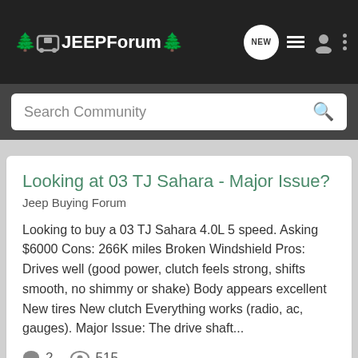JEEPForum
Search Community
Looking at 03 TJ Sahara - Major Issue?
Jeep Buying Forum
Looking to buy a 03 TJ Sahara 4.0L 5 speed. Asking $6000 Cons: 266K miles Broken Windshield Pros: Drives well (good power, clutch feels strong, shifts smooth, no shimmy or shake) Body appears excellent New tires New clutch Everything works (radio, ac, gauges). Major Issue: The drive shaft...
2   515
210craig · Aug 23, 2017
drive shaft   transfer case